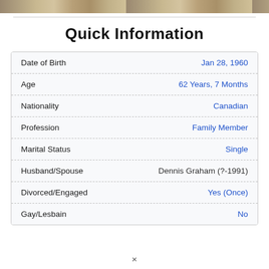[Figure (photo): Partial view of a banner or logo image at the top of the page, showing stylized text and a golden/warm-toned background.]
Quick Information
| Field | Value |
| --- | --- |
| Date of Birth | Jan 28, 1960 |
| Age | 62 Years, 7 Months |
| Nationality | Canadian |
| Profession | Family Member |
| Marital Status | Single |
| Husband/Spouse | Dennis Graham (?-1991) |
| Divorced/Engaged | Yes (Once) |
| Gay/Lesbain | No |